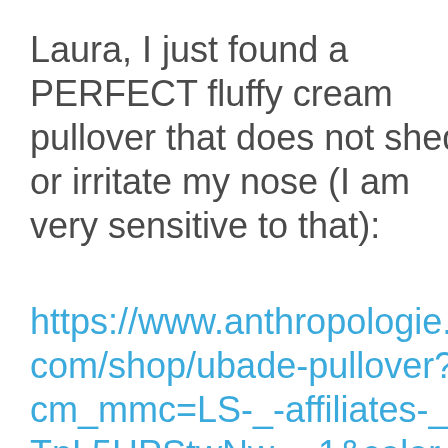Laura, I just found a PERFECT fluffy cream pullover that does not shed or irritate my nose (I am very sensitive to that):
https://www.anthropologie.com/shop/ubade-pullover?cm_mmc=LS-_-affiliates-_-TnL5HPStwNw-_-1&color=011&siteID=TnL5HPStwNw-m.FOtBQ8bph5CJ8z73bnRA&utm_